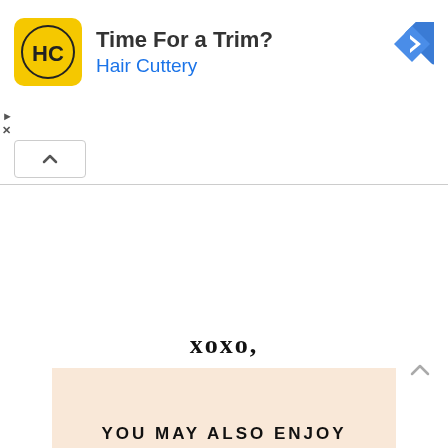[Figure (other): Advertisement banner for Hair Cuttery with yellow logo, text 'Time For a Trim?' and 'Hair Cuttery' in blue, navigation arrow icon on right, play and close icons on left, and a collapse/chevron-up button below.]
xoxo,
[Figure (illustration): Cursive signature of 'Arisa Chow' on a light peach/beige background.]
YOU MAY ALSO ENJOY